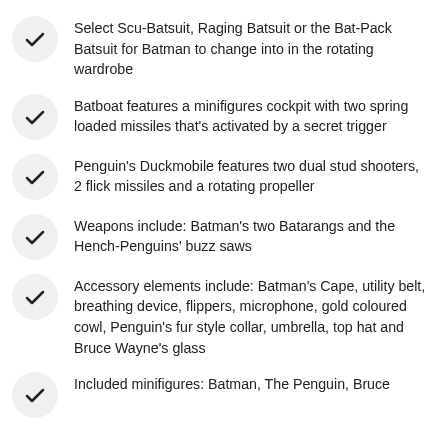Select Scu-Batsuit, Raging Batsuit or the Bat-Pack Batsuit for Batman to change into in the rotating wardrobe
Batboat features a minifigures cockpit with two spring loaded missiles that's activated by a secret trigger
Penguin's Duckmobile features two dual stud shooters, 2 flick missiles and a rotating propeller
Weapons include: Batman's two Batarangs and the Hench-Penguins' buzz saws
Accessory elements include: Batman's Cape, utility belt, breathing device, flippers, microphone, gold coloured cowl, Penguin's fur style collar, umbrella, top hat and Bruce Wayne's glass
Included minifigures: Batman, The Penguin, Bruce